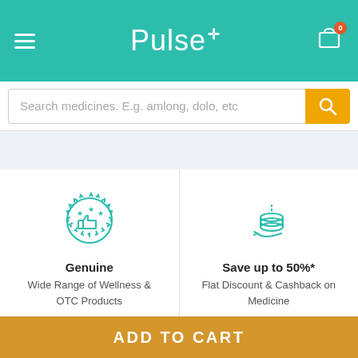[Figure (screenshot): Pulse pharmacy app header with hamburger menu, Pulse+ logo in teal, and shopping cart icon with badge showing 0]
Search medicines. E.g. amlong, dolo, etc
[Figure (illustration): Genuine quality badge icon with thumbs up and stars, teal outline style]
Genuine
Wide Range of Wellness & OTC Products
[Figure (illustration): Save money icon with coins and hand, teal outline style]
Save up to 50%*
Flat Discount & Cashback on Medicine
ADD TO CART